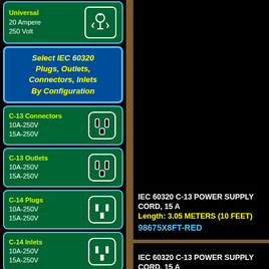[Figure (screenshot): Navigation panel showing IEC 60320 product categories including Universal 20A 250V, Select IEC 60320 menu, C-13 Connectors, C-13 Outlets, C-14 Plugs, C-14 Inlets, C-15 Connectors with icons]
IEC 60320 C-13 POWER SUPPLY CORD, 15 A
Length: 3.05 METERS (10 FEET)
98675X8FT-RED
IEC 60320 C-13 POWER SUPPLY CORD, 15 A
Length: 2.44 METERS (8 FEET)
98675X10FT-RED